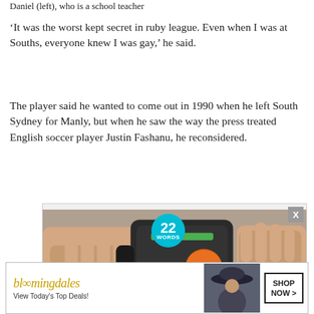Daniel (left), who is a school teacher
‘It was the worst kept secret in ruby league. Even when I was at Souths, everyone knew I was gay,’ he said.
The player said he wanted to come out in 1990 when he left South Sydney for Manly, but when he saw the way the press treated English soccer player Justin Fashanu, he reconsidered.
[Figure (photo): Advertisement showing hands holding a kitchen device with an orange/tomato being pressed, with a '22 WORDS' teal badge overlay and a CLOSE button]
[Figure (photo): Bloomingdale's advertisement with logo, 'View Today's Top Deals!' text, woman in hat image, and 'SHOP NOW >' button]